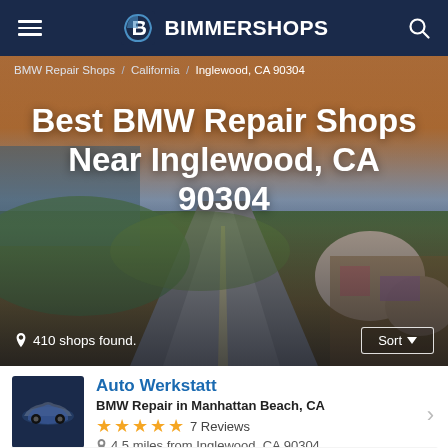BIMMERSHOPS
BMW Repair Shops / California / Inglewood, CA 90304
Best BMW Repair Shops Near Inglewood, CA 90304
410 shops found.
Auto Werkstatt
BMW Repair in Manhattan Beach, CA
★★★★★ 7 Reviews
4.5 miles from Inglewood, CA 90304
Having recently moved to the area, looking for an auto shop, I really didn't know where to go. Then I read the reviews of several...